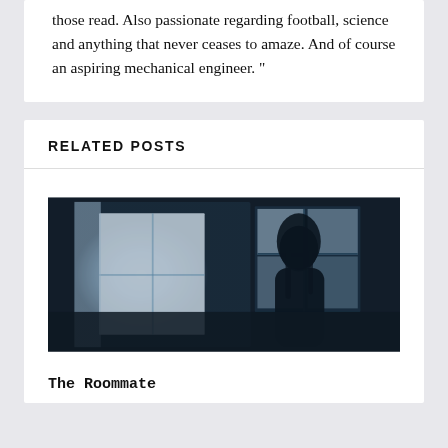those read. Also passionate regarding football, science and anything that never ceases to amaze. And of course an aspiring mechanical engineer. "
RELATED POSTS
[Figure (photo): Dark, eerie black-and-white/blue-tinted photograph of a shadowy figure of a person with long hair standing near a bright window with curtains in a dimly lit room.]
The Roommate